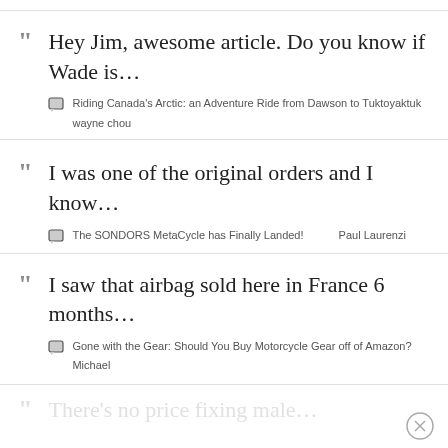Hey Jim, awesome article. Do you know if Wade is...
Riding Canada's Arctic: an Adventure Ride from Dawson to Tuktoyaktuk
wayne chou
I was one of the original orders and I know...
The SONDORS MetaCycle has Finally Landed!  Paul Laurenzi
I saw that airbag sold here in France 6 months...
Gone with the Gear: Should You Buy Motorcycle Gear off of Amazon?
Michael
There's no price fixing male...